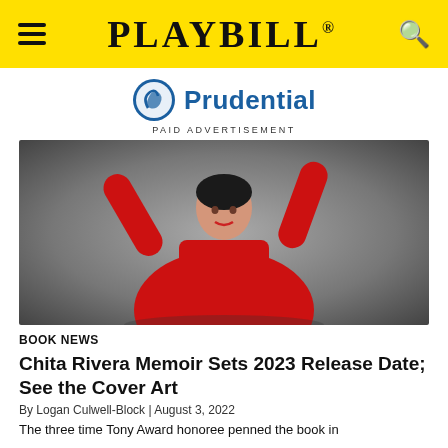PLAYBILL
[Figure (logo): Prudential logo with blue rock icon and blue text 'Prudential']
PAID ADVERTISEMENT
[Figure (photo): Chita Rivera in a red outfit posing with arms raised against a grey background]
BOOK NEWS
Chita Rivera Memoir Sets 2023 Release Date; See the Cover Art
By Logan Culwell-Block | August 3, 2022
The three time Tony Award honoree penned the book in